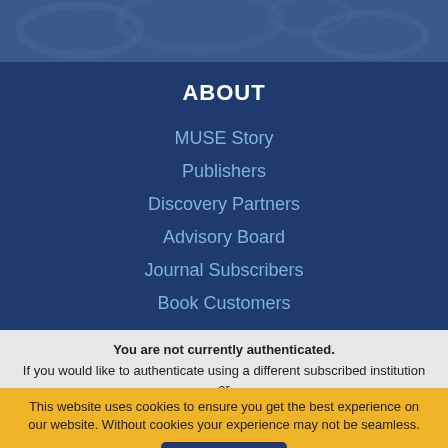[Figure (illustration): Dark blue decorative header banner with faint pattern]
ABOUT
MUSE Story
Publishers
Discovery Partners
Advisory Board
Journal Subscribers
Book Customers
collapse
You are not currently authenticated. If you would like to authenticate using a different subscribed institution or
This website uses cookies to ensure you get the best experience on our website. Without cookies your experience may not be seamless.
Accept